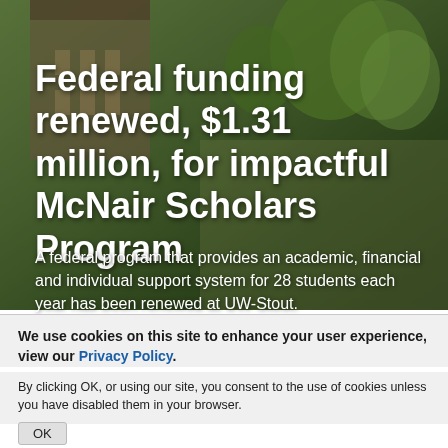[Figure (photo): Campus photo showing students walking on pathways with trees and brick buildings in background]
Federal funding renewed, $1.31 million, for impactful McNair Scholars Program
A federal program that provides an academic, financial and individual support system for 28 students each year has been renewed at UW-Stout.
We use cookies on this site to enhance your user experience, view our Privacy Policy.
By clicking OK, or using our site, you consent to the use of cookies unless you have disabled them in your browser.